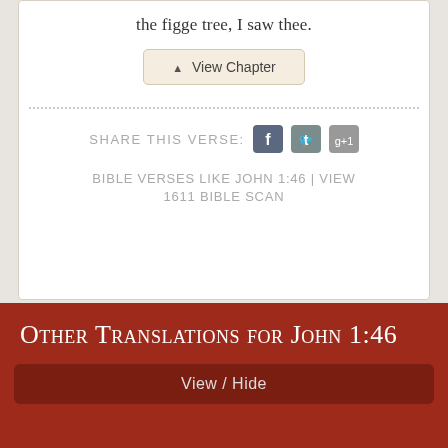the figge tree, I saw thee.
▲ View Chapter
SHARE THIS VERSE:
BIBLE VERSES LIKE JOHN 1:46 | VIEW 1611 BIBLE SCAN
Other Translations for John 1:46
View / Hide